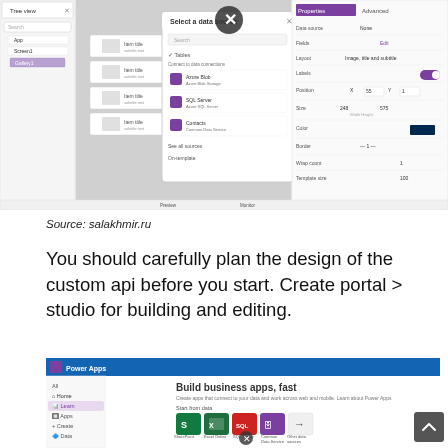[Figure (screenshot): Screenshot of Power Apps studio interface showing a 'Select a data source' dialog with options including Tables, Azure Blob Storage, SQL Server, Contacts, and other data sources. The interface shows the canvas editor with properties panel on the right.]
Source: salakhmir.ru
You should carefully plan the design of the custom api before you start. Create portal > studio for building and editing.
[Figure (screenshot): Screenshot of Microsoft Power Apps portal showing 'Build business apps, fast' landing page with options to Start from data (SharePoint, Excel Online, SQL Server, Common Data Service, Other data sources) and Make your own apps (Canvas app from blank, Model-driven app from blank, Portal from blank). The interface shows a blue header with Power Apps logo and left navigation panel.]